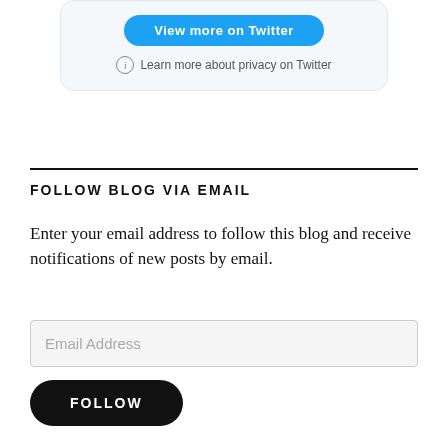[Figure (screenshot): Twitter widget box with a blue 'View more on Twitter' button and a privacy info link underneath]
FOLLOW BLOG VIA EMAIL
Enter your email address to follow this blog and receive notifications of new posts by email.
Email Address
FOLLOW